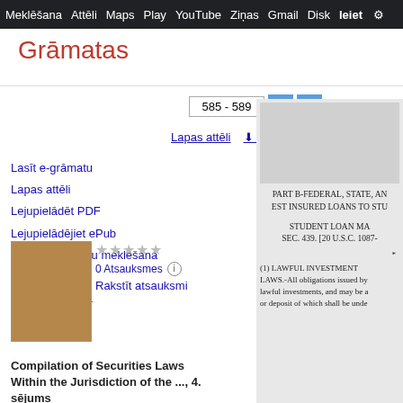Meklēšana  Attēli  Maps  Play  YouTube  Ziņas  Gmail  Disk  Ieiet
Grāmatas
585 - 589
Lapas attēli  ⬇ PDF  ⬇ ePub
Lasīt e-grāmatu
Lapas attēli
Lejupielādēt PDF
Lejupielādējiet ePub
Izvērstā grāmatu meklēšana
Palīdzība
Mana bibliotēka
0 Atsauksmes
Rakstīt atsauksmi
[Figure (photo): Book cover thumbnail - brown/tan colored book cover]
Compilation of Securities Laws Within the Jurisdiction of the ..., 4. sējums
[Figure (screenshot): Preview of book page showing: PART B-FEDERAL, STATE, AN... / EST INSURED LOANS TO STU... / STUDENT LOAN MA... / SEC. 439. [20 U.S.C. 1087-... / (1) LAWFUL INVESTMENT... LAWS.-All obligations issued by lawful investments, and may be a or deposit of which shall be unde...]